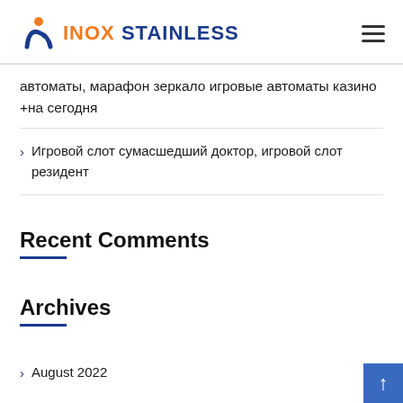INOX STAINLESS
автоматы, марафон зеркало игровые автоматы казино +на сегодня
Игровой слот сумасшедший доктор, игровой слот резидент
Recent Comments
Archives
August 2022